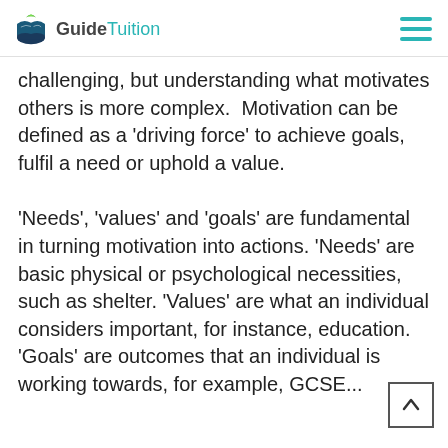GuideTuition
challenging, but understanding what motivates others is more complex. Motivation can be defined as a 'driving force' to achieve goals, fulfil a need or uphold a value.
'Needs', 'values' and 'goals' are fundamental in turning motivation into actions. 'Needs' are basic physical or psychological necessities, such as shelter. 'Values' are what an individual considers important, for instance, education. 'Goals' are outcomes that an individual is working towards, for example, GCSE...